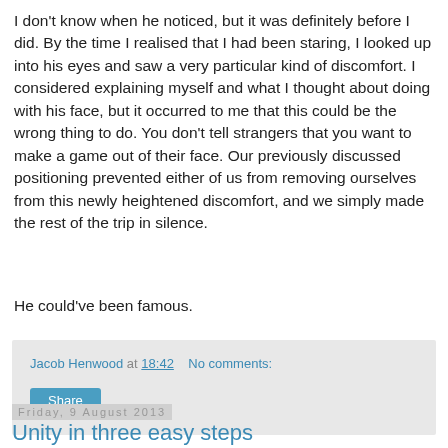I don't know when he noticed, but it was definitely before I did. By the time I realised that I had been staring, I looked up into his eyes and saw a very particular kind of discomfort. I considered explaining myself and what I thought about doing with his face, but it occurred to me that this could be the wrong thing to do. You don't tell strangers that you want to make a game out of their face. Our previously discussed positioning prevented either of us from removing ourselves from this newly heightened discomfort, and we simply made the rest of the trip in silence.
He could've been famous.
Jacob Henwood at 18:42   No comments:
Share
Friday, 9 August 2013
Unity in three easy steps